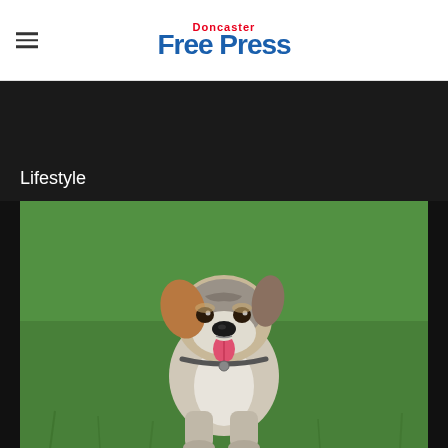Doncaster Free Press
Lifestyle
[Figure (photo): A mixed-breed dog sitting on green grass, mouth open with tongue out, looking at the camera. The dog has brown, grey, and white markings with floppy ears.]